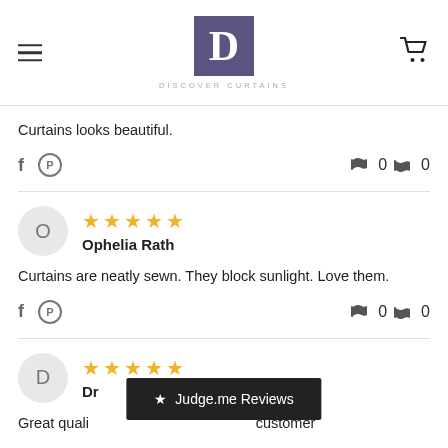Discover Curtains
Curtains looks beautiful.
Ophelia Rath — 5 stars — Curtains are neatly sewn. They block sunlight. Love them.
D — 5 stars — Great quali... customer
[Figure (screenshot): Judge.me Reviews overlay banner]